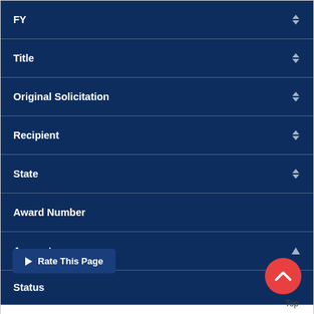| FY | Title | Original Solicitation | Recipient | State | Award Number | Amount | Status |
| --- | --- | --- | --- | --- | --- | --- | --- |
| 2008-JL-FX-0504 |
| Closed |
Rate This Page
Top